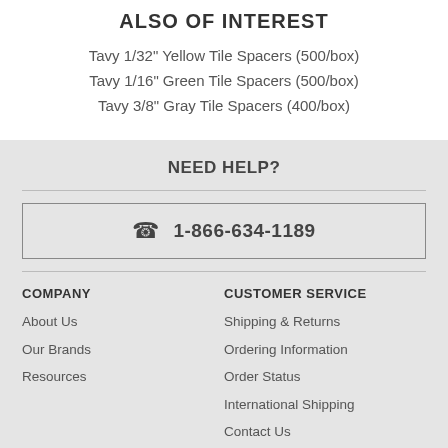ALSO OF INTEREST
Tavy 1/32" Yellow Tile Spacers (500/box)
Tavy 1/16" Green Tile Spacers (500/box)
Tavy 3/8" Gray Tile Spacers (400/box)
NEED HELP?
1-866-634-1189
COMPANY
About Us
Our Brands
Resources
CUSTOMER SERVICE
Shipping & Returns
Ordering Information
Order Status
International Shipping
Contact Us